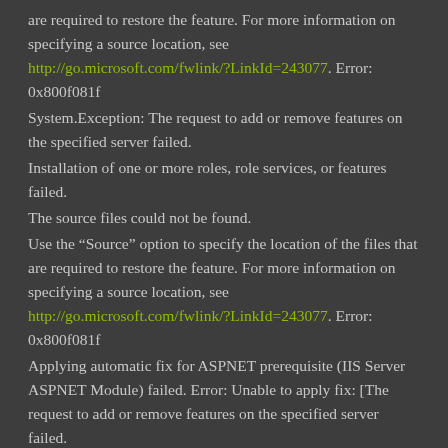are required to restore the feature. For more information on specifying a source location, see http://go.microsoft.com/fwlink/?LinkId=243077. Error: 0x800f081f
System.Exception: The request to add or remove features on the specified server failed.
Installation of one or more roles, role services, or features failed.
The source files could not be found.
Use the "Source" option to specify the location of the files that are required to restore the feature. For more information on specifying a source location, see http://go.microsoft.com/fwlink/?LinkId=243077. Error: 0x800f081f
Applying automatic fix for ASPNET prerequisite (IIS Server ASPNET Module) failed. Error: Unable to apply fix: [The request to add or remove features on the specified server failed.